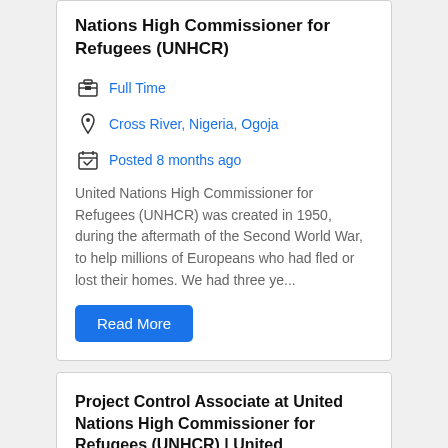Nations High Commissioner for Refugees (UNHCR)
Full Time
Cross River, Nigeria, Ogoja
Posted 8 months ago
United Nations High Commissioner for Refugees (UNHCR) was created in 1950, during the aftermath of the Second World War, to help millions of Europeans who had fled or lost their homes. We had three ye...
Read More
Project Control Associate at United Nations High Commissioner for Refugees (UNHCR) | United